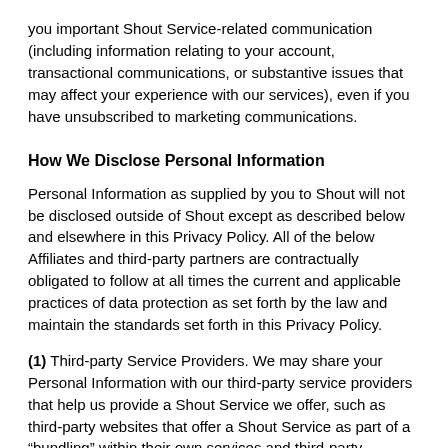you important Shout Service-related communication (including information relating to your account, transactional communications, or substantive issues that may affect your experience with our services), even if you have unsubscribed to marketing communications.
How We Disclose Personal Information
Personal Information as supplied by you to Shout will not be disclosed outside of Shout except as described below and elsewhere in this Privacy Policy. All of the below Affiliates and third-party partners are contractually obligated to follow at all times the current and applicable practices of data protection as set forth by the law and maintain the standards set forth in this Privacy Policy.
(1) Third-party Service Providers. We may share your Personal Information with our third-party service providers that help us provide a Shout Service we offer, such as third-party websites that offer a Shout Service as part of a “bundling” within their own services and third-party companies that help us process payments for goods and services. Please note that while a Shout Service may be made available for